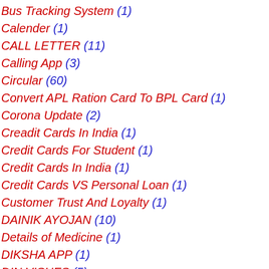Bus Tracking System (1)
Calender (1)
CALL LETTER (11)
Calling App (3)
Circular (60)
Convert APL Ration Card To BPL Card (1)
Corona Update (2)
Creadit Cards In India (1)
Credit Cards For Student (1)
Credit Cards In India (1)
Credit Cards VS Personal Loan (1)
Customer Trust And Loyalty (1)
DAINIK AYOJAN (10)
Details of Medicine (1)
DIKSHA APP (1)
DIN VISHES (5)
Download Birth/Death Certificate Online (1)
E-Content Home Learning (5)
Education (1)